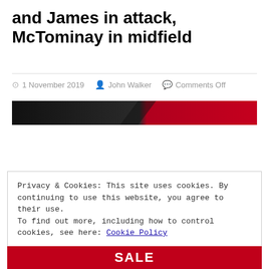and James in attack, McTominay in midfield
1 November 2019  John Walker  Comments Off
[Figure (photo): Hero image banner with dark left side and red right side, diagonal split]
Privacy & Cookies: This site uses cookies. By continuing to use this website, you agree to their use.
To find out more, including how to control cookies, see here: Cookie Policy
Close and accept
[Figure (photo): Red SALE banner at the bottom of the page]